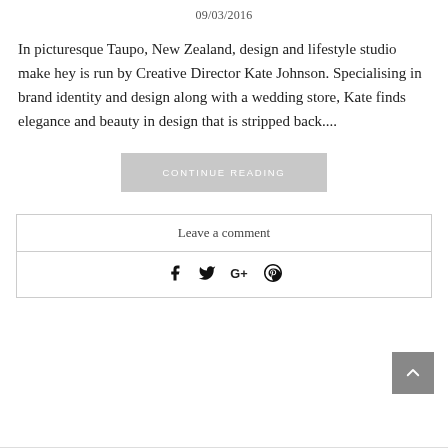09/03/2016
In picturesque Taupo, New Zealand, design and lifestyle studio make hey is run by Creative Director Kate Johnson. Specialising in brand identity and design along with a wedding store, Kate finds elegance and beauty in design that is stripped back....
CONTINUE READING
Leave a comment
[Figure (other): Social share icons: Facebook, Twitter, Google+, Pinterest]
[Figure (other): Back to top button with upward chevron arrow]